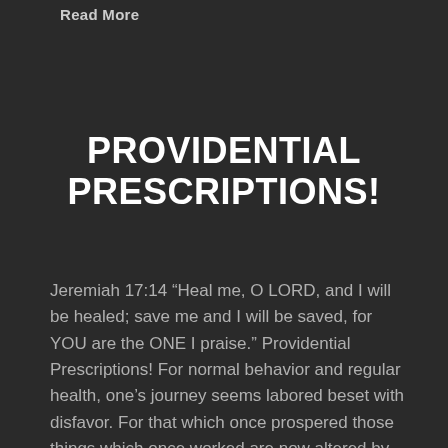Read More
PROVIDENTIAL PRESCRIPTIONS!
Jeremiah 17:14 “Heal me, O LORD, and I will be healed; save me and I will be saved, for YOU are the ONE I praise.” Providential Prescriptions! For normal behavior and regular health, one’s journey seems labored beset with disfavor. For that which once prospered those things which once worked are now altered by devilish [...]